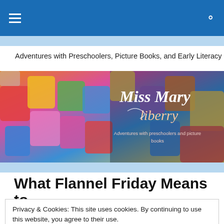Navigation bar with hamburger menu and search icon
[Figure (screenshot): Miss Mary Liberry blog banner with colorful magnetic alphabet letters and white cursive text reading 'Miss Mary liberry - Adventures with preschoolers and picture books']
Adventures with Preschoolers, Picture Books, and Early Literacy
What Flannel Friday Means to
Privacy & Cookies: This site uses cookies. By continuing to use this website, you agree to their use.
To find out more, including how to control cookies, see here: Cookie Policy
Close and accept